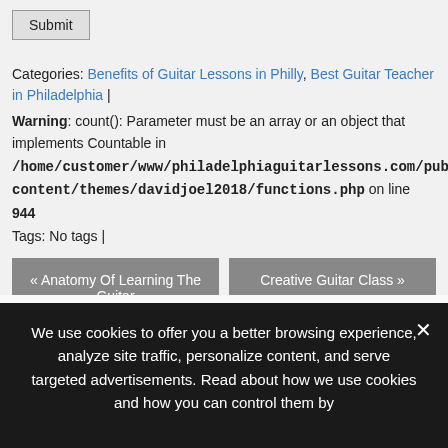Submit
Categories: Benefits of Guitar Lessons in Philly, Best Guitar Teacher in Philadelphia |
Warning: count(): Parameter must be an array or an object that implements Countable in /home/customer/www/philadelphiaguitarlessons.com/public_html/wp-content/themes/davidjoel2018/functions.php on line 944
Tags: No tags |
« Anatomy Of Learning The Guitar
Creative Guitar Class »
Follow Us
[Figure (logo): YouTube logo icon with 'You' on top and 'Tube' in red below]
We use cookies to offer you a better browsing experience, analyze site traffic, personalize content, and serve targeted advertisements. Read about how we use cookies and how you can control them by